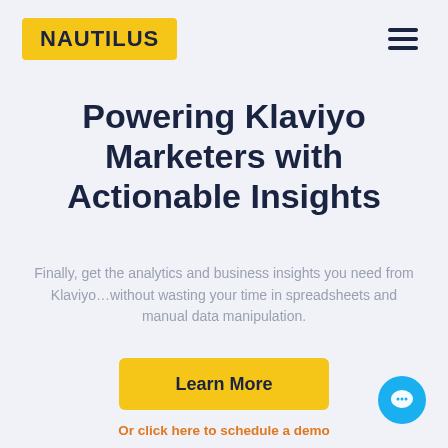NAUTILUS
Powering Klaviyo Marketers with Actionable Insights
Finally, get the analytics and business insights you need from Klaviyo…without wasting your time in spreadsheets and manual data manipulation.
[Figure (other): Yellow 'Learn More' button]
Or click here to schedule a demo